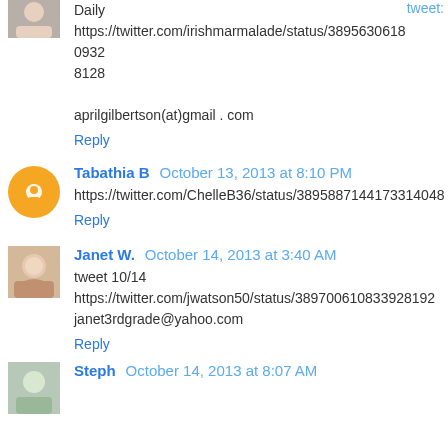Daily
https://twitter.com/irishmarmalade/status/389563061809328128

aprilgilbertson(at)gmail . com
Reply
Tabathia B  October 13, 2013 at 8:10 PM
https://twitter.com/ChelleB36/status/389587144173314048
Reply
Janet W.  October 14, 2013 at 3:40 AM
tweet 10/14
https://twitter.com/jwatson50/status/389700610833928192
janet3rdgrade@yahoo.com
Reply
Steph  October 14, 2013 at 8:07 AM